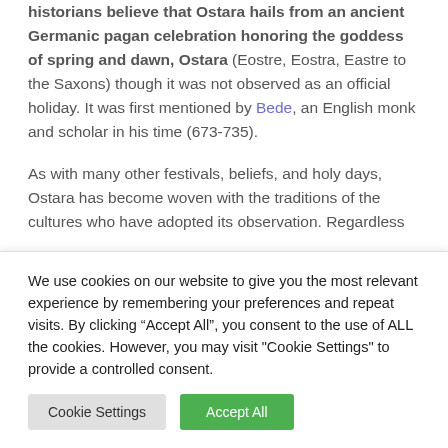historians believe that Ostara hails from an ancient Germanic pagan celebration honoring the goddess of spring and dawn, Ostara (Eostre, Eostra, Eastre to the Saxons) though it was not observed as an official holiday. It was first mentioned by Bede, an English monk and scholar in his time (673-735).
As with many other festivals, beliefs, and holy days, Ostara has become woven with the traditions of the cultures who have adopted its observation. Regardless of the details, Ostara...
We use cookies on our website to give you the most relevant experience by remembering your preferences and repeat visits. By clicking "Accept All", you consent to the use of ALL the cookies. However, you may visit "Cookie Settings" to provide a controlled consent.